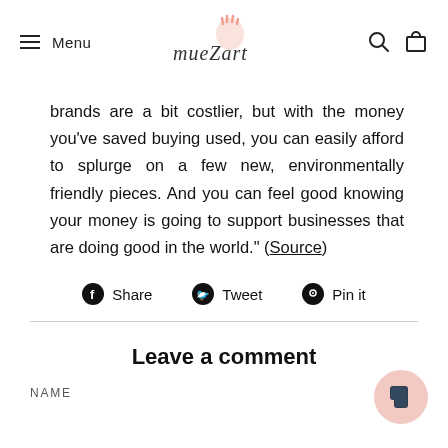Menu | mueZart | [search] [cart]
brands are a bit costlier, but with the money you've saved buying used, you can easily afford to splurge on a few new, environmentally friendly pieces. And you can feel good knowing your money is going to support businesses that are doing good in the world." (Source)
Share  Tweet  Pin it
Leave a comment
NAME